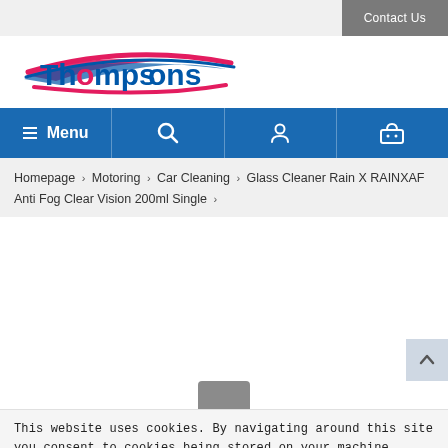Contact Us
[Figure (logo): Thompsons logo with red and blue swoosh graphic and stylized text]
Menu | Search | Account | Basket
Homepage › Motoring › Car Cleaning › Glass Cleaner Rain X RAINXAF Anti Fog Clear Vision 200ml Single ›
[Figure (photo): Product image area (partially visible) for Glass Cleaner Rain X RAINXAF Anti Fog Clear Vision 200ml Single]
This website uses cookies. By navigating around this site you consent to cookies being stored on your machine. Learn more
Hide this message from view